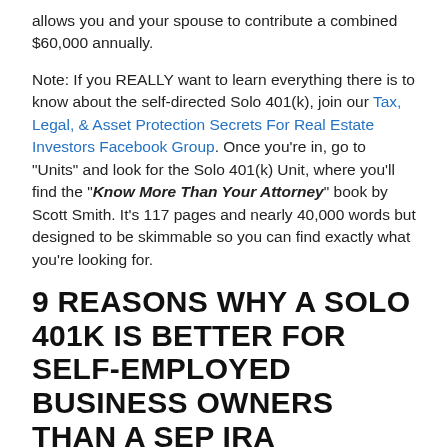allows you and your spouse to contribute a combined $60,000 annually.
Note: If you REALLY want to learn everything there is to know about the self-directed Solo 401(k), join our Tax, Legal, & Asset Protection Secrets For Real Estate Investors Facebook Group. Once you're in, go to "Units" and look for the Solo 401(k) Unit, where you'll find the "Know More Than Your Attorney" book by Scott Smith. It's 117 pages and nearly 40,000 words but designed to be skimmable so you can find exactly what you're looking for.
9 REASONS WHY A SOLO 401K IS BETTER FOR SELF-EMPLOYED BUSINESS OWNERS THAN A SEP IRA
1. You can open a Solo 401k at any bank.